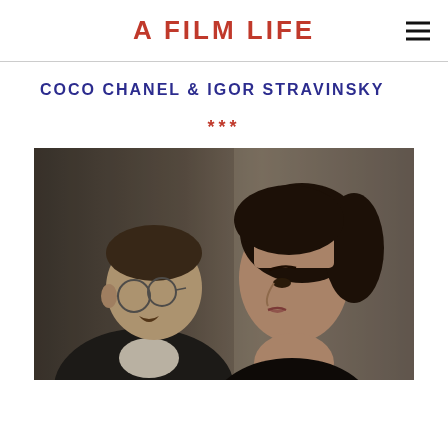A FILM LIFE
COCO CHANEL & IGOR STRAVINSKY
***
[Figure (photo): Film still showing two actors, a man with round glasses and a mustache on the left, and a dark-haired woman in profile on the right, from the film Coco Chanel & Igor Stravinsky]